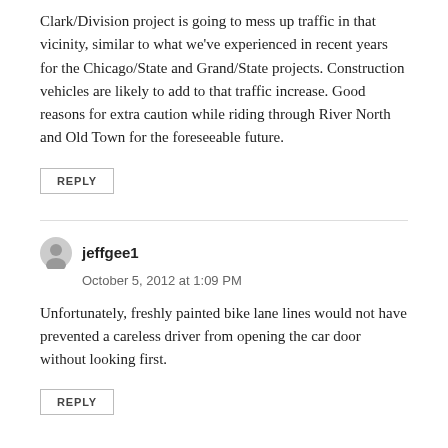Clark/Division project is going to mess up traffic in that vicinity, similar to what we've experienced in recent years for the Chicago/State and Grand/State projects. Construction vehicles are likely to add to that traffic increase. Good reasons for extra caution while riding through River North and Old Town for the foreseeable future.
REPLY
jeffgee1
October 5, 2012 at 1:09 PM
Unfortunately, freshly painted bike lane lines would not have prevented a careless driver from opening the car door without looking first.
REPLY